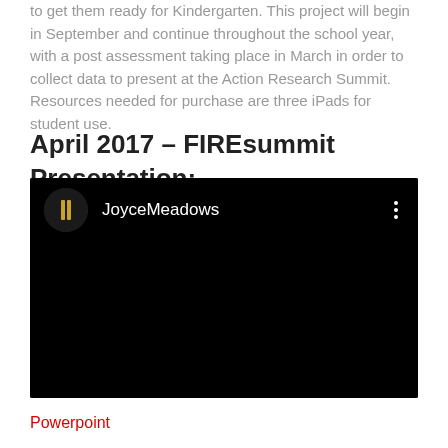to get them ready for Kindergarten. This project will begin in September and continue throughout the school year, with a post assessment taking place in March in order to collect data to present at the Action Research Summit. Resources needed for purchase are three iPads for student use.
April 2017 – FIREsummit Presentation:
[Figure (screenshot): Embedded video player with black background showing channel icon (dark circle with gold H letter icon) and channel name 'JoyceMeadows' in white text, with three-dot menu icon at top right.]
Powerpoint